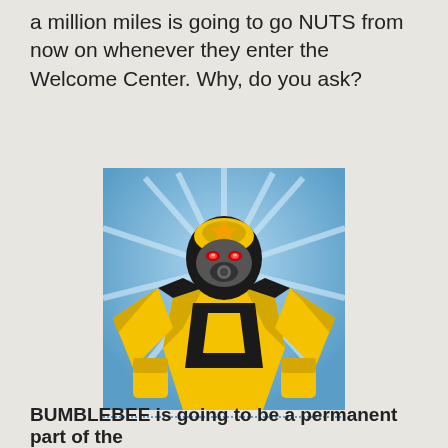a million miles is going to go NUTS from now on whenever they enter the Welcome Center. Why, do you ask?
[Figure (photo): A close-up photo of Bumblebee from Transformers — a yellow and black robot character with glowing red eyes, against a blue starburst background.]
BUMBLEBEE is going to be a permanent part of the